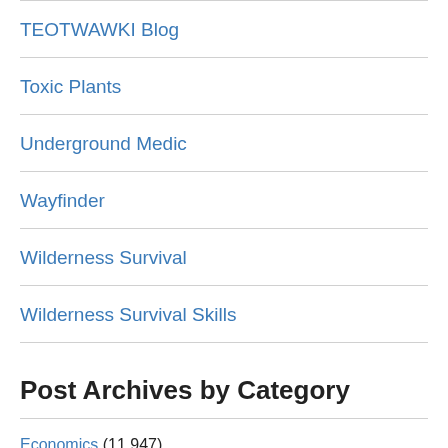TEOTWAWKI Blog
Toxic Plants
Underground Medic
Wayfinder
Wilderness Survival
Wilderness Survival Skills
Post Archives by Category
Economics (11,947)
Energy (5,068)